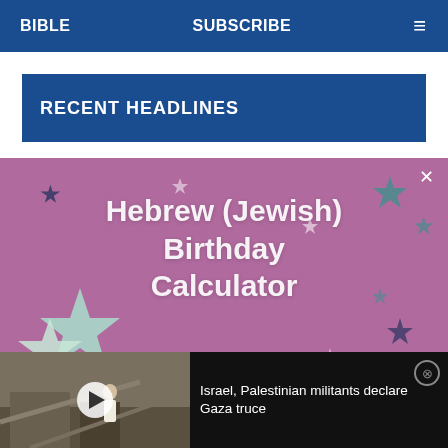BIBLE    SUBSCRIBE    ≡
RECENT HEADLINES
[Figure (illustration): Purple promotional banner with star decorations advertising Hebrew (Jewish) Birthday Calculator with a close X button]
Hebrew (Jewish) Birthday Calculator
[Figure (photo): Video thumbnail showing a man standing amid rubble in Gaza with a play button overlay]
Israel, Palestinian militants declare Gaza truce